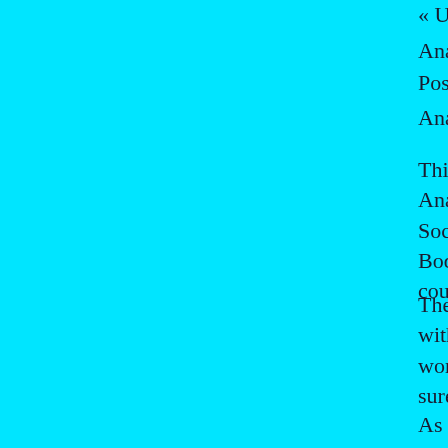« Ulaanbaatar (Expoza) Home Page Cheng…
Anagarika Dharmapala
Posted by Anandajoti on Friday, 27th Janu…
Anagarika Dharmapala
This is a short biographical film of the great Anagārika Dharmapāla, who was the founder of the Maha Bodhi Society, and helped with getting Buddhist control of the Bodhgaya site, and many other projects in various countries.
The film is mainly an illustrated narration, illustrated with interesting photographs and a competent piece of work, one could have wished for a more full treatment which surely cannot be beyond the capabilities of…
As it is, for those who know nothing, or less, about him it still serves as an introduction to his lifetime service to the Buddhist cause, and outlines some of his main…
These include the establishment of Buddhist institutions in Sri Lanka, including colleges, schools and Sinhala language national newspapers; the establishment of a hospice in India which has helped so many over the years, and the building of temples and Buddhist societies in western…